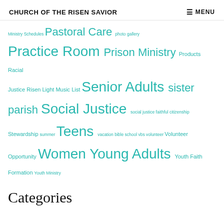CHURCH OF THE RISEN SAVIOR   ≡ MENU
Ministry Schedules Pastoral Care photo gallery Practice Room Prison Ministry Products Racial Justice Risen Light Music List Senior Adults sister parish Social Justice social justice faithful citizenship Stewardship summer Teens vacation bible school vbs volunteer Volunteer Opportunity Women Young Adults Youth Faith Formation Youth Ministry
Categories